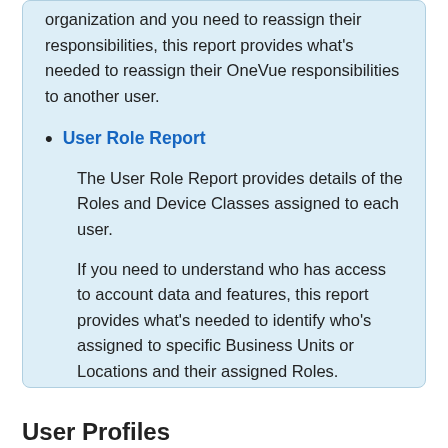organization and you need to reassign their responsibilities, this report provides what's needed to reassign their OneVue responsibilities to another user.
User Role Report

The User Role Report provides details of the Roles and Device Classes assigned to each user.

If you need to understand who has access to account data and features, this report provides what's needed to identify who's assigned to specific Business Units or Locations and their assigned Roles.
User Profiles